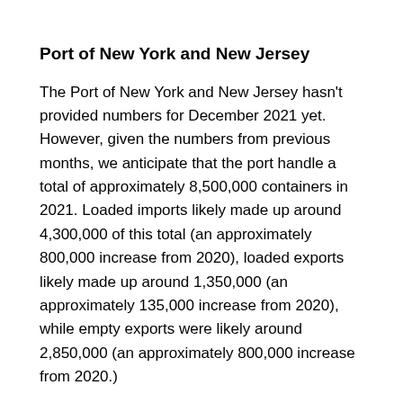Port of New York and New Jersey
The Port of New York and New Jersey hasn't provided numbers for December 2021 yet. However, given the numbers from previous months, we anticipate that the port handle a total of approximately 8,500,000 containers in 2021. Loaded imports likely made up around 4,300,000 of this total (an approximately 800,000 increase from 2020), loaded exports likely made up around 1,350,000 (an approximately 135,000 increase from 2020), while empty exports were likely around 2,850,000 (an approximately 800,000 increase from 2020.)